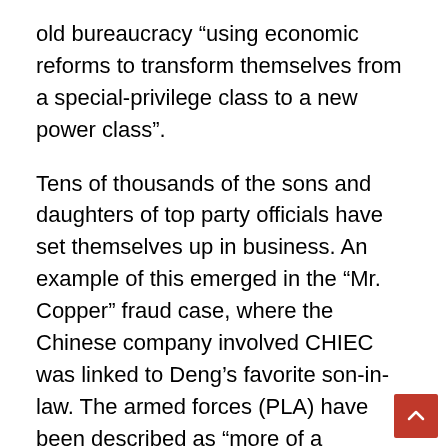old bureaucracy “using economic reforms to transform themselves from a special-privilege class to a new power class”.
Tens of thousands of the sons and daughters of top party officials have set themselves up in business. An example of this emerged in the “Mr. Copper” fraud case, where the Chinese company involved CHIEC was linked to Deng’s favorite son-in-law. The armed forces (PLA) have been described as “more of a business than a fighting force”, and are reckoned to bring in more from their various companies, both military and non-military, than they get from the state budget. For this reason in our material we should avoid using the term “bureaucracy” to describe what is essentially a capitalist regime. Of course there are capitalist bureaucracies, but this term is associated so much with Stalinism in China’s case that it can lead to confusion.